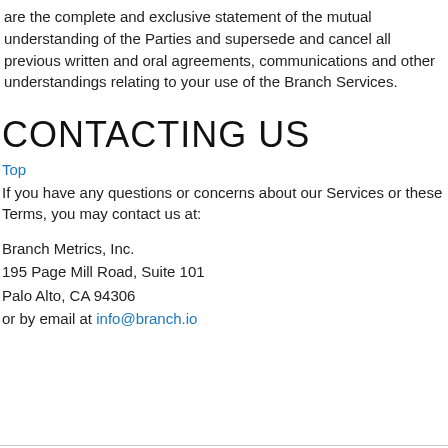are the complete and exclusive statement of the mutual understanding of the Parties and supersede and cancel all previous written and oral agreements, communications and other understandings relating to your use of the Branch Services.
CONTACTING US
Top
If you have any questions or concerns about our Services or these Terms, you may contact us at:
Branch Metrics, Inc.
195 Page Mill Road, Suite 101
Palo Alto, CA 94306
or by email at info@branch.io